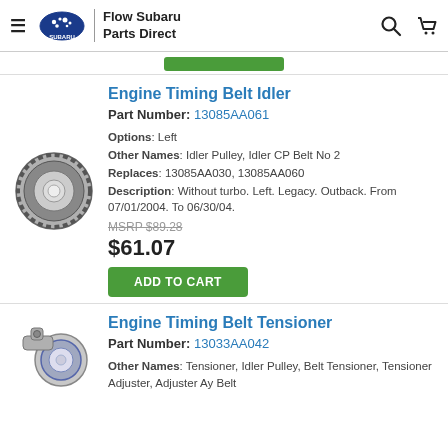Flow Subaru Parts Direct
[Figure (screenshot): Green add to cart button (partially visible at top)]
Engine Timing Belt Idler
Part Number: 13085AA061
Options: Left
Other Names: Idler Pulley, Idler CP Belt No 2
Replaces: 13085AA030, 13085AA060
Description: Without turbo. Left. Legacy. Outback. From 07/01/2004. To 06/30/04.
MSRP $89.28
$61.07
ADD TO CART
Engine Timing Belt Tensioner
Part Number: 13033AA042
Other Names: Tensioner, Idler Pulley, Belt Tensioner, Tensioner Adjuster, Adjuster Ay Belt